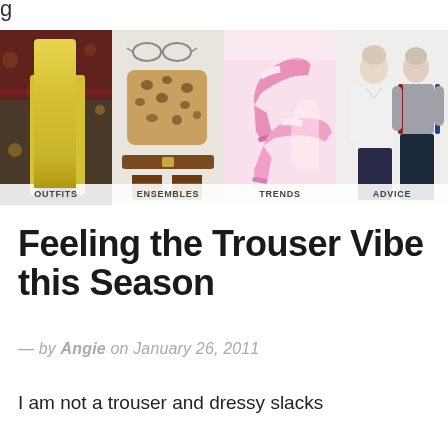g
[Figure (photo): Navigation strip of four fashion blog category images: OUTFITS (woman in yellow coat on street), ENSEMBLES (leopard print sweater with accessories), TRENDS (pink mule heels), ADVICE (two women in classic clothes)]
Feeling the Trouser Vibe this Season
— by Angie on January 26, 2011
I am not a trouser and dressy slacks